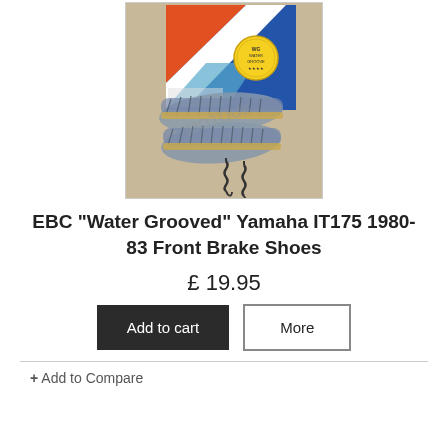[Figure (photo): Product photo of EBC Water Grooved brake shoes for Yamaha IT175 1980-83. Shows two curved brake shoes with grooved friction material, two metal springs, and the EBC product box with blue, orange and white diagonal stripe design and a yellow 'WG Water Groove' badge.]
EBC "Water Grooved" Yamaha IT175 1980-83 Front Brake Shoes
£ 19.95
Add to cart
More
+ Add to Compare